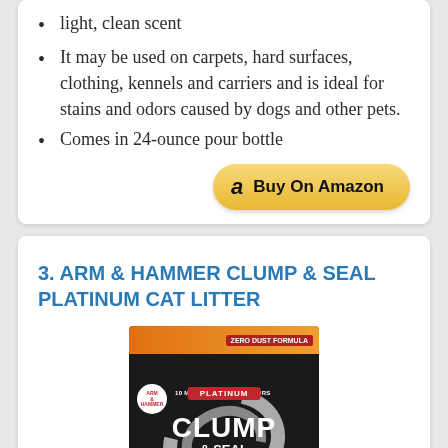light, clean scent
It may be used on carpets, hard surfaces, clothing, kennels and carriers and is ideal for stains and odors caused by dogs and other pets.
Comes in 24-ounce pour bottle
[Figure (other): Buy On Amazon button with Amazon logo]
3. ARM & HAMMER CLUMP & SEAL PLATINUM CAT LITTER
[Figure (photo): Arm & Hammer Clump & Seal Platinum Cat Litter product box — black box with orange top, red banner reading PLATINUM, large white text CLUMP & SEAL, swirl design, Zero Dust Formula label]